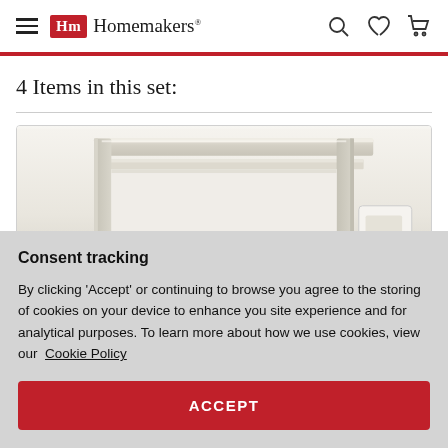Homemakers
4 Items in this set:
[Figure (photo): A white/cream colored furniture headboard or bed frame top rail shown in close-up product photo]
Consent tracking
By clicking 'Accept' or continuing to browse you agree to the storing of cookies on your device to enhance you site experience and for analytical purposes. To learn more about how we use cookies, view our Cookie Policy
ACCEPT